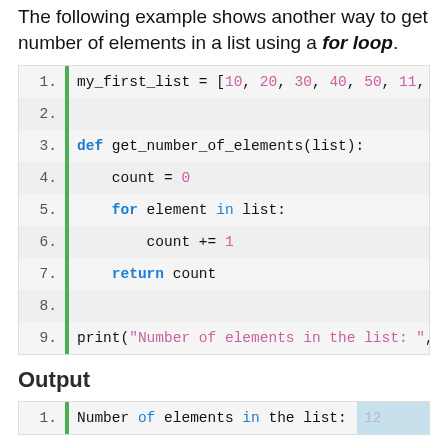The following example shows another way to get number of elements in a list using a for loop.
[Figure (screenshot): Code block showing Python code: my_first_list = [10, 20, 30, 40, 50, 11, 22, 33, 44, 5...], def get_number_of_elements(list): count = 0, for element in list: count += 1, return count, print('Number of elements in the list: ', get_numbe...]
Output
[Figure (screenshot): Output block showing: Number of elements in the list: 12]
In the above example, we first initialize the